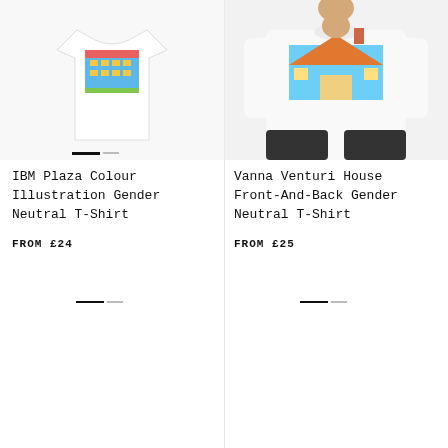[Figure (screenshot): E-commerce product listing page showing two gender neutral t-shirts: IBM Plaza Colour Illustration and Vanna Venturi House Front-And-Back. Page includes hamburger menu, brand logo, currency selector (GBP £), and image sliders.]
IBM Plaza Colour Illustration Gender Neutral T-Shirt
FROM £24
Vanna Venturi House Front-And-Back Gender Neutral T-Shirt
FROM £25